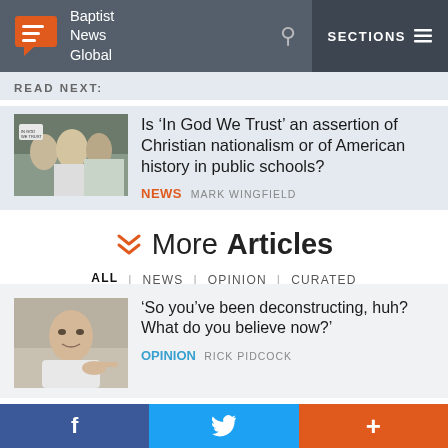Baptist News Global — SECTIONS
READ NEXT:
[Figure (photo): Photo of people holding In God We Trust signs]
Is ‘In God We Trust’ an assertion of Christian nationalism or of American history in public schools?
NEWS MARK WINGFIELD
More Articles
ALL | NEWS | OPINION | CURATED
[Figure (photo): Photo of an older man pointing finger]
‘So you’ve been deconstructing, huh? What do you believe now?’
OPINION RICK PIDCOCK
f  (twitter bird)  +